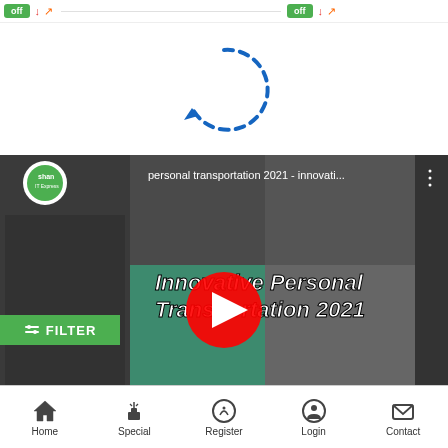[Figure (screenshot): Top bar with green buttons and share/arrow icons on left and right sides]
[Figure (other): Blue dashed circular loading spinner arrow]
[Figure (screenshot): YouTube video thumbnail: 'personal transportation 2021 - innovati...' with title 'Innovative Personal Transportation 2021', red play button, green FILTER button overlay, collage of personal transportation devices]
[Figure (other): Bottom navigation bar with Home, Special, Register, Login, Contact icons]